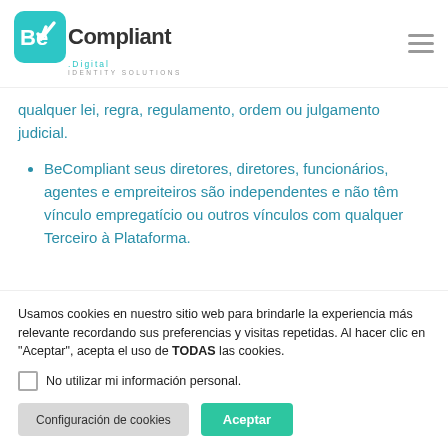[Figure (logo): BeCompliant Digital Identity Solutions logo with teal icon and wordmark]
qualquer lei, regra, regulamento, ordem ou julgamento judicial.
BeCompliant seus diretores, diretores, funcionários, agentes e empreiteiros são independentes e não têm vínculo empregatício ou outros vínculos com qualquer Terceiro à Plataforma.
Usamos cookies en nuestro sitio web para brindarle la experiencia más relevante recordando sus preferencias y visitas repetidas. Al hacer clic en "Aceptar", acepta el uso de TODAS las cookies.
No utilizar mi información personal.
Configuración de cookies
Aceptar